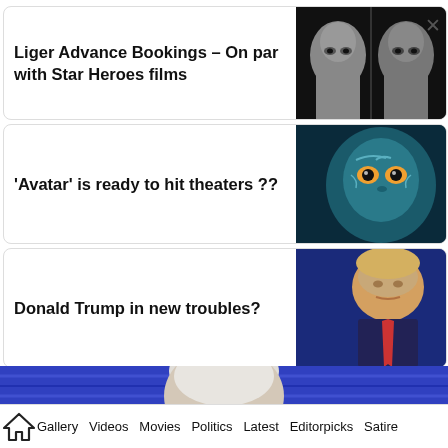Liger Advance Bookings – On par with Star Heroes films
[Figure (photo): Black and white close-up photo of two male faces side by side]
'Avatar' is ready to hit theaters ??
[Figure (photo): Blue alien character from Avatar movie with detailed face markings]
Donald Trump in new troubles?
[Figure (photo): Donald Trump looking to his right against a blue background]
[Figure (photo): Back of head of elderly person with white/grey hair against blue background]
Gallery  Videos  Movies  Politics  Latest  Editorpicks  Satire